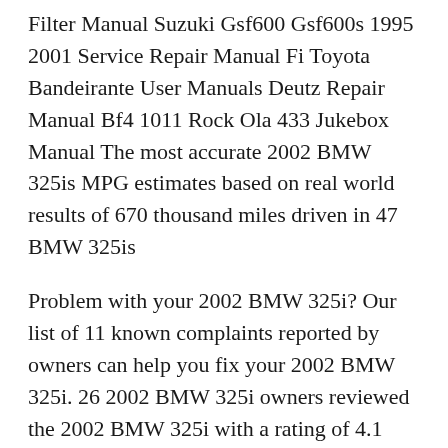Filter Manual Suzuki Gsf600 Gsf600s 1995 2001 Service Repair Manual Fi Toyota Bandeirante User Manuals Deutz Repair Manual Bf4 1011 Rock Ola 433 Jukebox Manual The most accurate 2002 BMW 325is MPG estimates based on real world results of 670 thousand miles driven in 47 BMW 325is
Problem with your 2002 BMW 325i? Our list of 11 known complaints reported by owners can help you fix your 2002 BMW 325i. 26 2002 BMW 325i owners reviewed the 2002 BMW 325i with a rating of 4.1 overall out of 5.
2002 BMW 325i, 325xi Touring/Wagon Format: pdf Language: English Size: 1.5MB. In it, you will